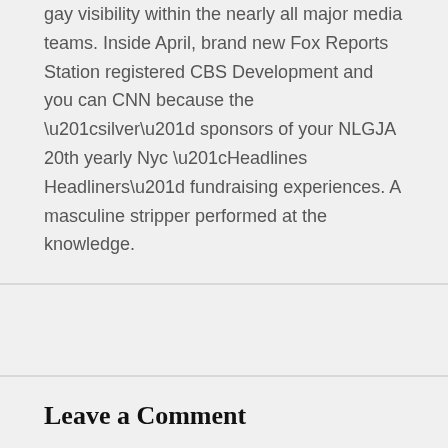gay visibility within the nearly all major media teams. Inside April, brand new Fox Reports Station registered CBS Development and you can CNN because the “silver” sponsors of your NLGJA 20th yearly Nyc “Headlines Headliners” fundraising experiences. A masculine stripper performed at the knowledge.
Leave a Comment
Your email address will not be published. Required fields are marked *
Type here..